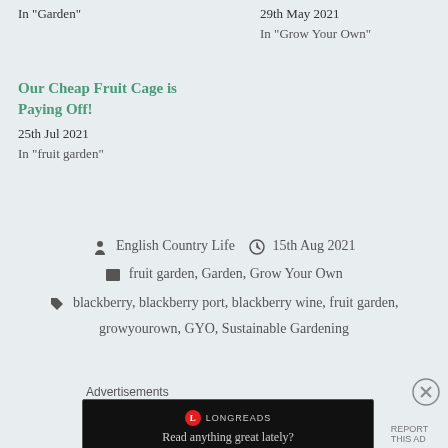In "Garden"
29th May 2021
In "Grow Your Own"
Our Cheap Fruit Cage is Paying Off!
25th Jul 2021
In "fruit garden"
English Country Life   15th Aug 2021
fruit garden, Garden, Grow Your Own
blackberry, blackberry port, blackberry wine, fruit garden,
growyourown, GYO, Sustainable Gardening
Advertisements
[Figure (screenshot): Longreads advertisement banner with dark background, Longreads logo and tagline 'Read anything great lately?']